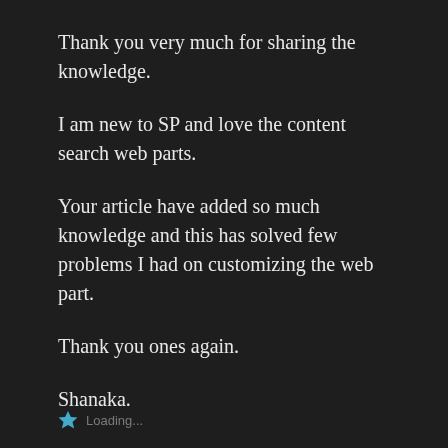Thank you very much for sharing the knowledge.
I am new to SP and love the content search web parts.
Your article have added so much knowledge and this has solved few problems I had on customizing the web part.
Thank you ones again.
Shanaka.
Loading...